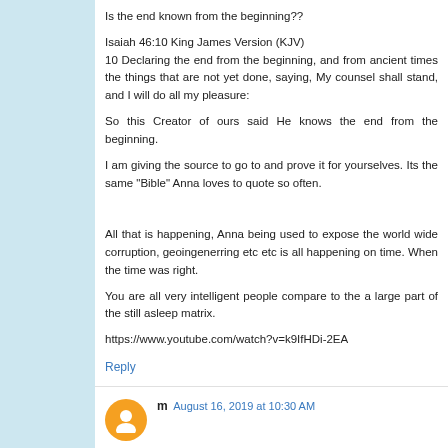Is the end known from the beginning??
Isaiah 46:10 King James Version (KJV)
10 Declaring the end from the beginning, and from ancient times the things that are not yet done, saying, My counsel shall stand, and I will do all my pleasure:
So this Creator of ours said He knows the end from the beginning.
I am giving the source to go to and prove it for yourselves. Its the same "Bible" Anna loves to quote so often.
All that is happening, Anna being used to expose the world wide corruption, geoingenerring etc etc is all happening on time. When the time was right.
You are all very intelligent people compare to the a large part of the still asleep matrix.
https://www.youtube.com/watch?v=k9IfHDi-2EA
Reply
m   August 16, 2019 at 10:30 AM
1. there is no such thing as outer space. The only space that